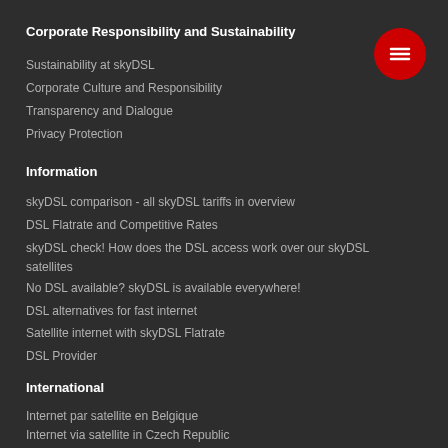Corporate Responsibility and Sustainability
Sustainability at skyDSL
Corporate Culture and Responsibility
Transparency and Dialogue
Privacy Protection
Information
skyDSL comparison - all skyDSL tariffs in overview
DSL Flatrate and Competitive Rates
skyDSL check! How does the DSL access work over our skyDSL satellites
No DSL available? skyDSL is available everywhere!
DSL alternatives for fast internet
Satellite internet with skyDSL Flatrate
DSL Provider
International
Internet par satellite en Belgique
Internet via satellite in Czech Republic
Internet über Satellit in Deutschland